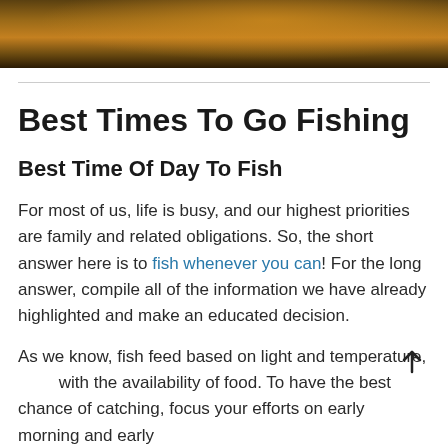[Figure (photo): Outdoor/nature photo strip at top, appears to show water or a fishing scene with warm golden tones]
Best Times To Go Fishing
Best Time Of Day To Fish
For most of us, life is busy, and our highest priorities are family and related obligations. So, the short answer here is to fish whenever you can! For the long answer, compile all of the information we have already highlighted and make an educated decision.
As we know, fish feed based on light and temperature, with the availability of food. To have the best chance of catching, focus your efforts on early morning and early